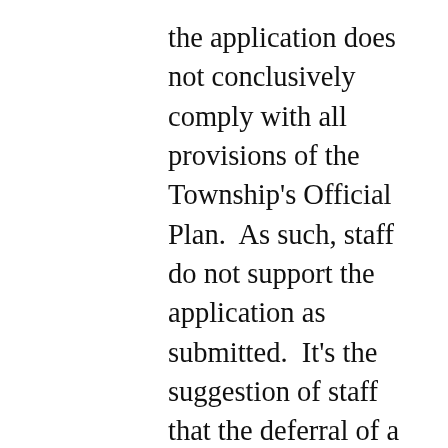the application does not conclusively comply with all provisions of the Township's Official Plan.  As such, staff do not support the application as submitted.  It's the suggestion of staff that the deferral of a decision by Council is possible if the applicants were to provide additional information and modifications, “most specifically addressing noise and attenuation, as well as certainty with regards to entrance, traffic, and